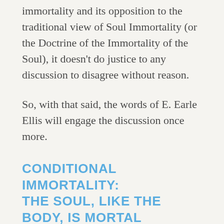immortality and its opposition to the traditional view of Soul Immortality (or the Doctrine of the Immortality of the Soul), it doesn't do justice to any discussion to disagree without reason.
So, with that said, the words of E. Earle Ellis will engage the discussion once more.
CONDITIONAL IMMORTALITY: THE SOUL, LIKE THE BODY, IS MORTAL
In Ellis's quote above, he says that the New Testament doesn't posit the view that the soul outlives the body; that thought, according to